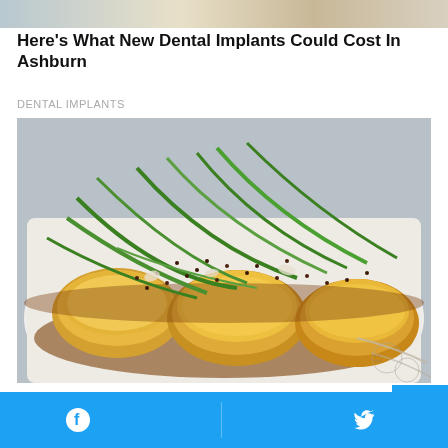[Figure (photo): Partial top image, cropped — appears to be a food or lifestyle photo, mostly cut off at top]
Here's What New Dental Implants Could Cost In Ashburn
DENTAL IMPLANTS
[Figure (photo): Close-up food photo of pan-fried tofu or fish cakes on a white plate, topped with green onions, sesame seeds, and brown sauce/glaze]
These 2 Vegetables Will Kill Your Belly Fat Overnight!
KETO
Facebook share button | Twitter share button